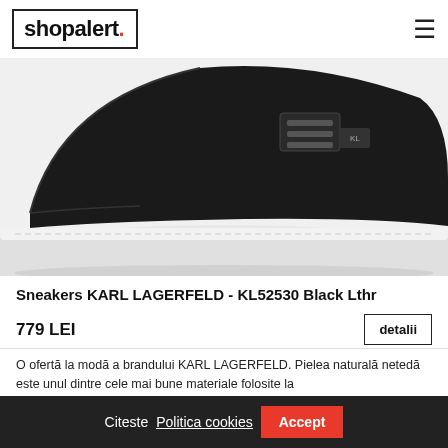[Figure (logo): shopalert. logo in black box with red period]
[Figure (photo): Black leather Karl Lagerfeld sneaker with white sole, close-up product photo]
Sneakers KARL LAGERFELD - KL52530 Black Lthr
779 LEI
detalii
O ofertă la modă a brandului KARL LAGERFELD. Pielea naturală netedă este unul dintre cele mai bune materiale folosite la
Citeste Politica cookies Accept